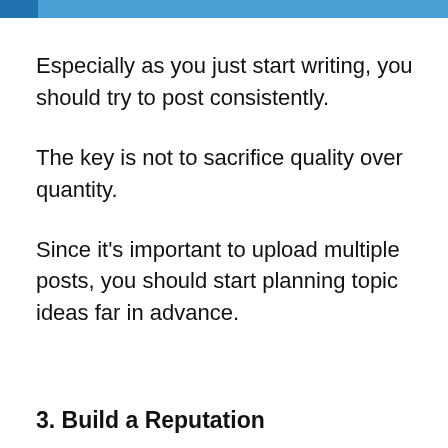Especially as you just start writing, you should try to post consistently.
The key is not to sacrifice quality over quantity.
Since it's important to upload multiple posts, you should start planning topic ideas far in advance.
3. Build a Reputation